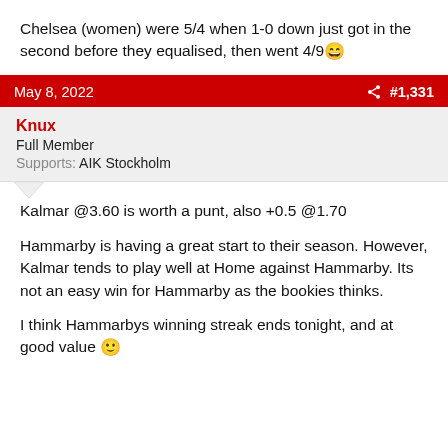Chelsea (women) were 5/4 when 1-0 down just got in the second before they equalised, then went 4/9😄
May 8, 2022  #1,331
Knux
Full Member
Supports: AIK Stockholm
Kalmar @3.60 is worth a punt, also +0.5 @1.70
Hammarby is having a great start to their season. However, Kalmar tends to play well at Home against Hammarby. Its not an easy win for Hammarby as the bookies thinks.
I think Hammarbys winning streak ends tonight, and at good value 🙂